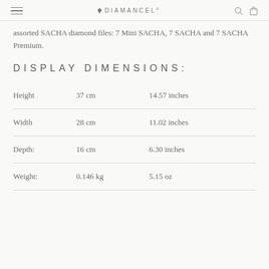DIAMANCEL
assorted SACHA diamond files: 7 Mini SACHA, 7 SACHA and 7 SACHA Premium.
DISPLAY DIMENSIONS:
|  | Metric | Imperial |
| --- | --- | --- |
| Height | 37 cm | 14.57 inches |
| Width | 28 cm | 11.02 inches |
| Depth: | 16 cm | 6.30 inches |
| Weight: | 0.146 kg | 5.15 oz |